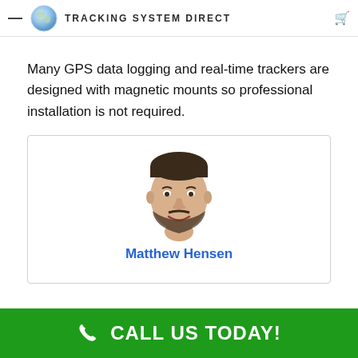— Tracking System Direct 🛒
Many GPS data logging and real-time trackers are designed with magnetic mounts so professional installation is not required.
[Figure (photo): Circular headshot photo of Matthew Hensen, a man with short dark hair and a beard, smiling, on a white background inside a bordered card.]
Matthew Hensen
CALL US TODAY!